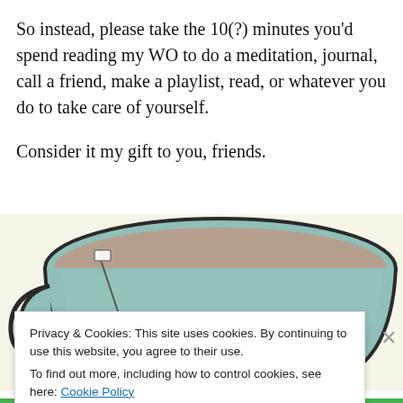So instead, please take the 10(?) minutes you'd spend reading my WO to do a meditation, journal, call a friend, make a playlist, read, or whatever you do to take care of yourself.

Consider it my gift to you, friends.
[Figure (illustration): Cartoon illustration of a teal/mint colored tea cup with a heart design on it, a tea bag hanging on the side, filled with a brownish tea, on a light cream/yellow background.]
Privacy & Cookies: This site uses cookies. By continuing to use this website, you agree to their use.
To find out more, including how to control cookies, see here: Cookie Policy